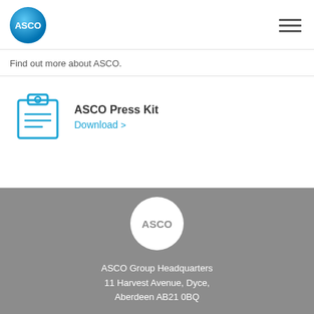[Figure (logo): ASCO blue circular logo in navigation header]
Find out more about ASCO.
ASCO Press Kit
Download >
[Figure (logo): ASCO circular logo in grey footer area]
ASCO Group Headquarters
11 Harvest Avenue, Dyce,
Aberdeen AB21 0BQ